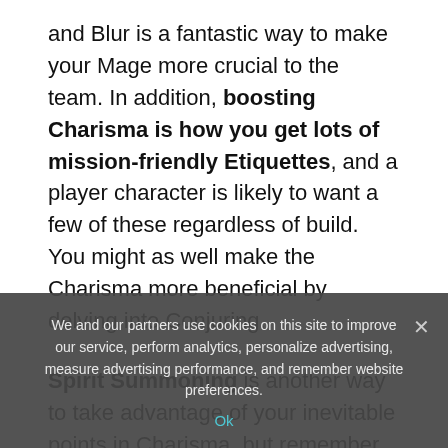and Blur is a fantastic way to make your Mage more crucial to the team. In addition, boosting Charisma is how you get lots of mission-friendly Etiquettes, and a player character is likely to want a few of these regardless of build. You might as well make the Charisma more beneficial by delving into Conjuring.
Spirit Summoning is another way to take advantage of your inevitable points in Charisma, but remember that this is an expensive way of life both in nuyen and Karma. Fetishes cost a lot of money, and to make Spirit Summoning work, you'll also want to invest...
We and our partners use cookies on this site to improve our service, perform analytics, personalize advertising, measure advertising performance, and remember website preferences.
Ok